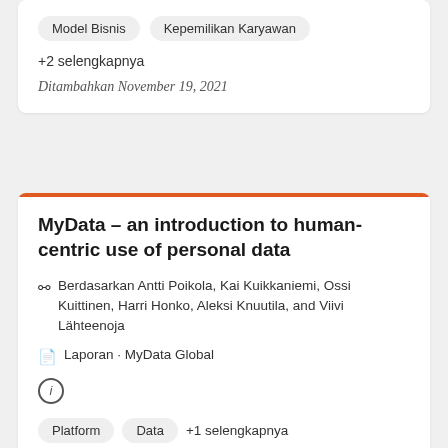Model Bisnis
Kepemilikan Karyawan
+2 selengkapnya
Ditambahkan November 19, 2021
MyData – an introduction to human-centric use of personal data
Berdasarkan Antti Poikola, Kai Kuikkaniemi, Ossi Kuittinen, Harri Honko, Aleksi Knuutila, and Viivi Lähteenoja
Laporan · MyData Global
Platform
Data
+1 selengkapnya